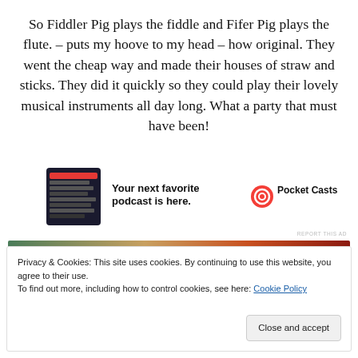So Fiddler Pig plays the fiddle and Fifer Pig plays the flute.  – puts my hoove to my head – how original.  They went the cheap way and made their houses of straw and sticks.  They did it quickly so they could play their lovely musical instruments all day long.  What a party that must have been!
[Figure (infographic): Pocket Casts advertisement banner with dark phone screenshot on left, bold text 'Your next favorite podcast is here.' in center, and Pocket Casts logo (red swirl icon) with brand name on right. Small 'REPORT THIS AD' text in upper right corner.]
[Figure (photo): Partial image strip visible at bottom, appears to be colorful photo content partially obscured by cookie consent banner.]
Privacy & Cookies: This site uses cookies. By continuing to use this website, you agree to their use.
To find out more, including how to control cookies, see here: Cookie Policy
Close and accept